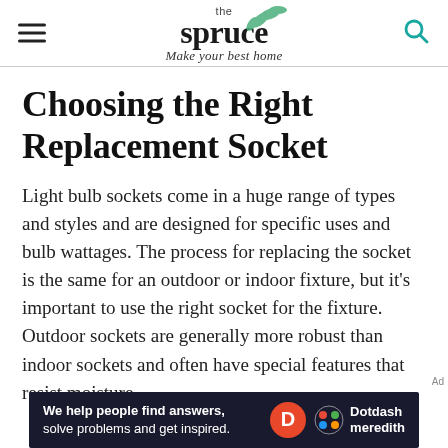the spruce — Make your best home
Choosing the Right Replacement Socket
Light bulb sockets come in a huge range of types and styles and are designed for specific uses and bulb wattages. The process for replacing the socket is the same for an outdoor or indoor fixture, but it's important to use the right socket for the fixture. Outdoor sockets are generally more robust than indoor sockets and often have special features that resist moisture.
[Figure (other): Advertisement banner: 'We help people find answers, solve problems and get inspired.' with Dotdash Meredith logo]